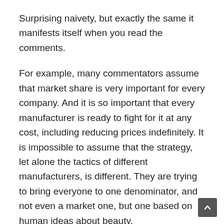Surprising naivety, but exactly the same it manifests itself when you read the comments.
For example, many commentators assume that market share is very important for every company. And it is so important that every manufacturer is ready to fight for it at any cost, including reducing prices indefinitely. It is impossible to assume that the strategy, let alone the tactics of different manufacturers, is different. They are trying to bring everyone to one denominator, and not even a market one, but one based on human ideas about beauty.
Observed a wonderful conversation that I found remarkable:
– Nobody needs Samsung, they keep reducing prices,